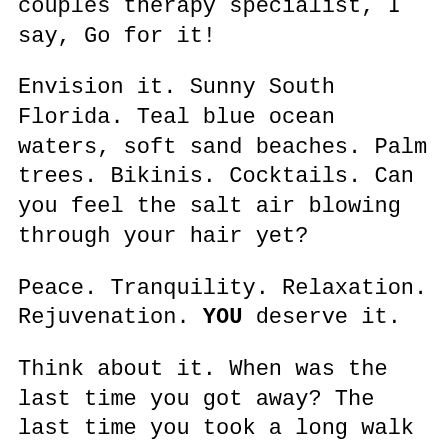couples therapy specialist, I say, Go for it!
Envision it. Sunny South Florida. Teal blue ocean waters, soft sand beaches. Palm trees. Bikinis. Cocktails. Can you feel the salt air blowing through your hair yet?
Peace. Tranquility. Relaxation. Rejuvenation. YOU deserve it.
Think about it. When was the last time you got away? The last time you took a long walk on a gorgeous beach? The last time you took time for yourself, away from the chaos?
Regardless of where you live, it's but a drive or flight away. It's but a decision away. A choice, which you hold the key